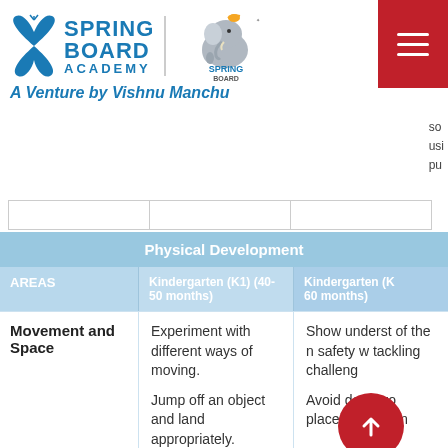[Figure (logo): Spring Board Academy logo with butterfly icon and Spring Board International Preschool logo]
A Venture by Vishnu Manchu
so
usi
pu
| AREAS | Kindergarten (K1) (40-50 months) | Kindergarten (K) 60 months) |
| --- | --- | --- |
| Movement and Space | Experiment with different ways of moving.
Jump off an object and land appropriately.
Move with | Show underst of the n safety w tackling challeng
Avoid dangero places a equipm |
[Figure (other): Red circular button with upward arrow]